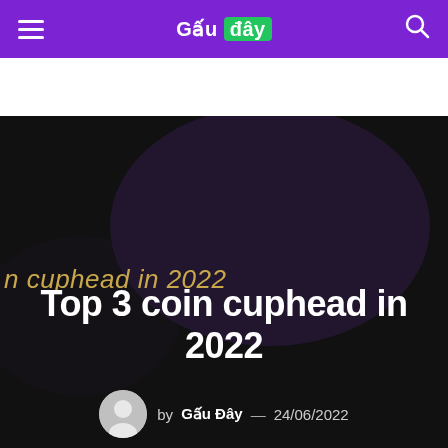Gấu đây
[Figure (screenshot): Dark hero banner with partial article title text 'cuphead in 2022' in gold/yellow italic text on dark background]
Top 3 coin cuphead in 2022
by Gấu Đây — 24/06/2022